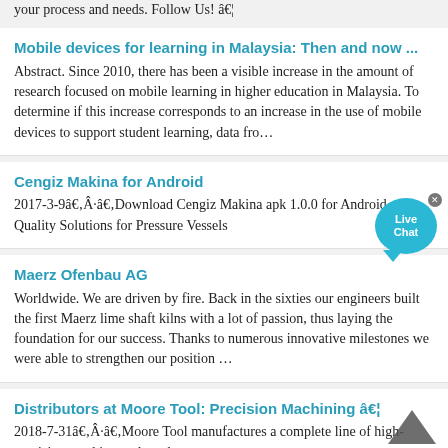your process and needs. Follow Us! â€¦
Mobile devices for learning in Malaysia: Then and now ...
Abstract. Since 2010, there has been a visible increase in the amount of research focused on mobile learning in higher education in Malaysia. To determine if this increase corresponds to an increase in the use of mobile devices to support student learning, data fro…
Cengiz Makina for Android
2017-3-9â€‚Â·â€‚Download Cengiz Makina apk 1.0.0 for Android. Quality Solutions for Pressure Vessels
Maerz Ofenbau AG
Worldwide. We are driven by fire. Back in the sixties our engineers built the first Maerz lime shaft kilns with a lot of passion, thus laying the foundation for our success. Thanks to numerous innovative milestones we were able to strengthen our position …
Distributors at Moore Tool: Precision Machining â€¦
2018-7-31â€‚Â·â€‚Moore Tool manufactures a complete line of high-precision machine tools and